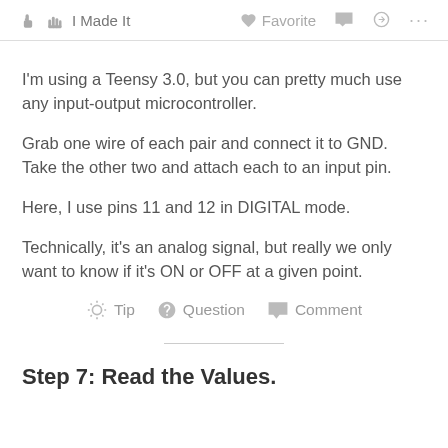I Made It   Favorite   Comment   Share   ...
I'm using a Teensy 3.0, but you can pretty much use any input-output microcontroller.
Grab one wire of each pair and connect it to GND. Take the other two and attach each to an input pin.
Here, I use pins 11 and 12 in DIGITAL mode.
Technically, it's an analog signal, but really we only want to know if it's ON or OFF at a given point.
Tip   Question   Comment
Step 7: Read the Values.